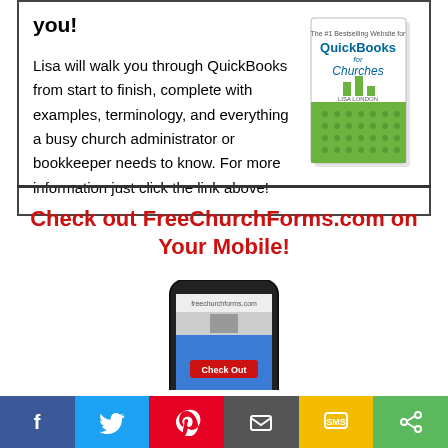you!
Lisa will walk you through QuickBooks from start to finish, complete with examples, terminology, and everything a busy church administrator or bookkeeper needs to know. For more information just click the link above!
[Figure (illustration): Book cover: QuickBooks for Churches]
Check out FreeChurchForms.com on Your Mobile!
[Figure (screenshot): Mobile phone showing FreeChurchForms.com website with Check Out button]
This site uses cookies, some of which are required for its operation. Privacy
[Figure (infographic): Social sharing bar: Facebook, Twitter, Pinterest, Email, SMS, Share buttons]